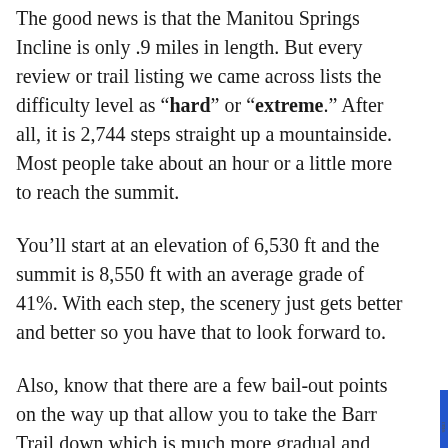The good news is that the Manitou Springs Incline is only .9 miles in length. But every review or trail listing we came across lists the difficulty level as "hard" or "extreme." After all, it is 2,744 steps straight up a mountainside. Most people take about an hour or a little more to reach the summit.
You'll start at an elevation of 6,530 ft and the summit is 8,550 ft with an average grade of 41%. With each step, the scenery just gets better and better so you have that to look forward to.
Also, know that there are a few bail-out points on the way up that allow you to take the Barr Trail down which is much more gradual and easier on